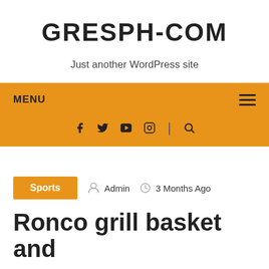GRESPH-COM
Just another WordPress site
MENU [hamburger icon] [social icons: f, twitter, youtube, instagram, | , search]
Sports  Admin  3 Months Ago
Ronco grill basket and